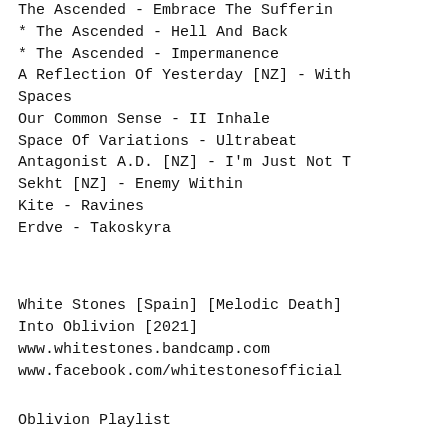The Ascended - Embrace The Sufferin
* The Ascended - Hell And Back
* The Ascended - Impermanence
A Reflection Of Yesterday [NZ] - With Spaces
Our Common Sense - II Inhale
Space Of Variations - Ultrabeat
Antagonist A.D. [NZ] - I'm Just Not T
Sekht [NZ] - Enemy Within
Kite - Ravines
Erdve - Takoskyra
White Stones [Spain] [Melodic Death]
Into Oblivion [2021]
www.whitestones.bandcamp.com
www.facebook.com/whitestonesofficial
Oblivion Playlist